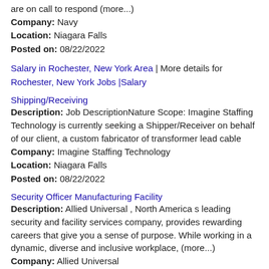are on call to respond (more...)
Company: Navy
Location: Niagara Falls
Posted on: 08/22/2022
Salary in Rochester, New York Area | More details for Rochester, New York Jobs |Salary
Shipping/Receiving
Description: Job DescriptionNature Scope: Imagine Staffing Technology is currently seeking a Shipper/Receiver on behalf of our client, a custom fabricator of transformer lead cable
Company: Imagine Staffing Technology
Location: Niagara Falls
Posted on: 08/22/2022
Security Officer Manufacturing Facility
Description: Allied Universal , North America s leading security and facility services company, provides rewarding careers that give you a sense of purpose. While working in a dynamic, diverse and inclusive workplace, (more...)
Company: Allied Universal
Location: Niagara Falls
Posted on: 08/22/2022